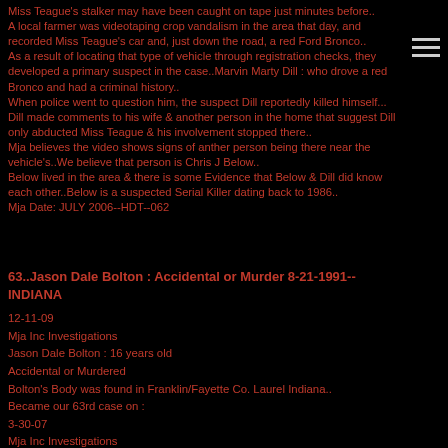Miss Teague's stalker may have been caught on tape just minutes before.. A local farmer was videotaping crop vandalism in the area that day, and recorded Miss Teague's car and, just down the road, a red Ford Bronco.. As a result of locating that type of vehicle through registration checks, they developed a primary suspect in the case..Marvin Marty Dill : who drove a red Bronco and had a criminal history.. When police went to question him, the suspect Dill reportedly killed himself... Dill made comments to his wife & another person in the home that suggest Dill only abducted Miss Teague & his involvement stopped there.. Mja believes the video shows signs of anther person being there near the vehicle's..We believe that person is Chris J Below.. Below lived in the area & there is some Evidence that Below & Dill did know each other..Below is a suspected Serial Killer dating back to 1986.. Mja Date: JULY 2006--HDT--062
63..Jason Dale Bolton : Accidental or Murder 8-21-1991-- INDIANA
12-11-09
Mja Inc Investigations
Jason Dale Bolton : 16 years old
Accidental or Murdered
Bolton's Body was found in Franklin/Fayette Co. Laurel Indiana..
Became our 63rd case on :
3-30-07
Mja Inc Investigations